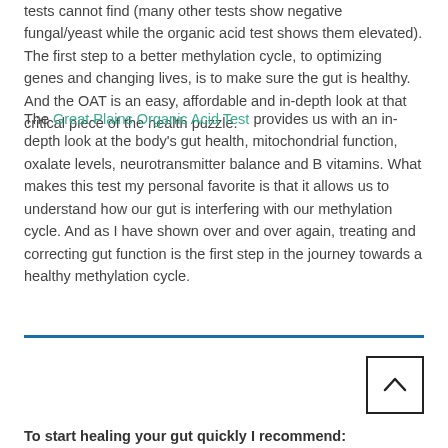tests cannot find (many other tests show negative fungal/yeast while the organic acid test shows them elevated). The first step to a better methylation cycle, to optimizing genes and changing lives, is to make sure the gut is healthy. And the OAT is an easy, affordable and in-depth look at that critical piece of the health puzzle.
The Great Plains Organic Acid Test provides us with an in-depth look at the body's gut health, mitochondrial function, oxalate levels, neurotransmitter balance and B vitamins. What makes this test my personal favorite is that it allows us to understand how our gut is interfering with our methylation cycle. And as I have shown over and over again, treating and correcting gut function is the first step in the journey towards a healthy methylation cycle.
[Figure (other): Back to top button — a square button with an upward-pointing caret/chevron arrow]
To start healing your gut quickly I recommend: